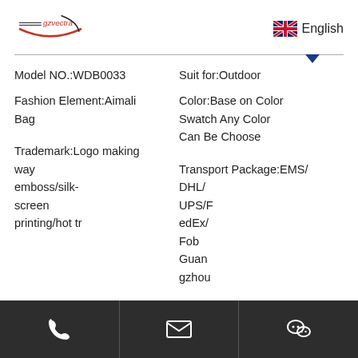[Figure (logo): gzvectra brand logo with red arc and text, and UK flag with English label]
Model NO.:WDB0033
Suit for:Outdoor
Fashion Element:Aimali Bag
Color:Base on Color Swatch Any Color Can Be Choose
Trademark:Logo making way emboss/silk-screen printing/hot tr
Transport Package:EMS/DHL/UPS/FedEx/Fob Guangzhou
Specification:L12.5*W6.5*
Origin:China
[Figure (infographic): Dark footer bar with three icon buttons: phone, email envelope, WeChat icon]